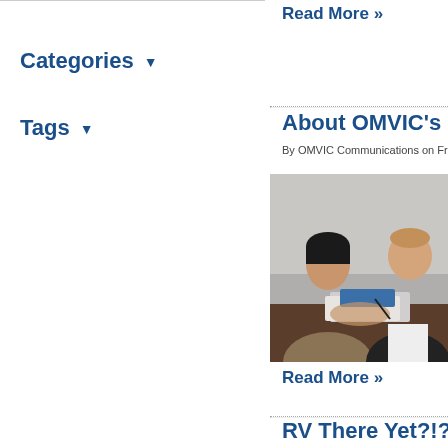Read More »
Categories ▾
Tags ▾
About OMVIC's C
By OMVIC Communications on Fric
[Figure (photo): Two people sitting at a desk reviewing documents, one person in a tan jacket with dark hair and another in a dark suit jacket]
Read More »
RV There Yet?!?
By OMVIC Communications on Fric